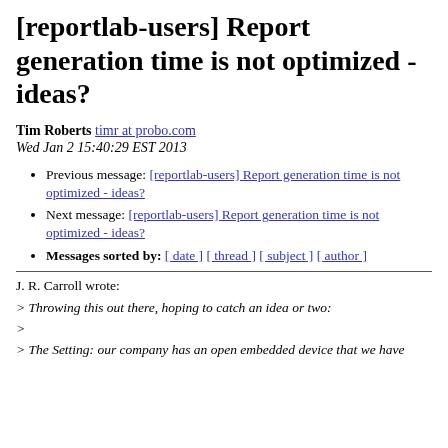[reportlab-users] Report generation time is not optimized - ideas?
Tim Roberts timr at probo.com
Wed Jan 2 15:40:29 EST 2013
Previous message: [reportlab-users] Report generation time is not optimized - ideas?
Next message: [reportlab-users] Report generation time is not optimized - ideas?
Messages sorted by: [ date ] [ thread ] [ subject ] [ author ]
J. R. Carroll wrote:
> Throwing this out there, hoping to catch an idea or two:
>
> The Setting: our company has an open embedded device that we have